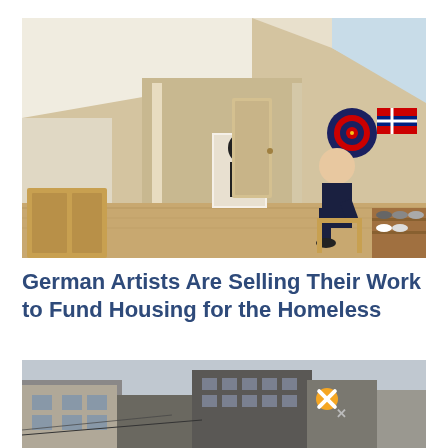[Figure (photo): Interior of an attic apartment with sloped white ceiling, wood floors, artwork on walls, and a man sitting on a chair smiling at the camera]
German Artists Are Selling Their Work to Fund Housing for the Homeless
[Figure (photo): Urban cityscape showing multi-story brick buildings under overcast sky, with an advertisement banner overlay reading 'Get our stories delivered directly to your phone with the NEW Next City app!']